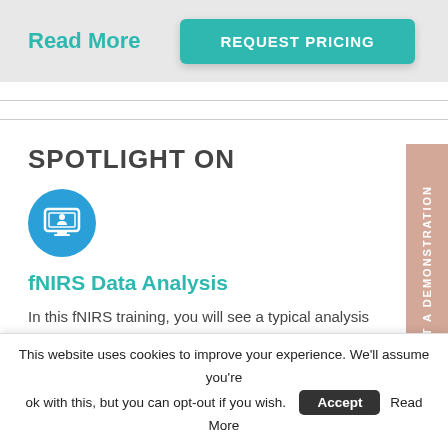Read More
REQUEST PRICING
SPOTLIGHT ON
[Figure (illustration): Teal circular icon with a person and monitor/computer screen]
fNIRS Data Analysis
In this fNIRS training, you will see a typical analysis workflow for fNIRS data in experiments featuring both event-based and continuous stimulation. Learn
REQUEST A DEMONSTRATION
This website uses cookies to improve your experience. We'll assume you're ok with this, but you can opt-out if you wish. Accept Read More